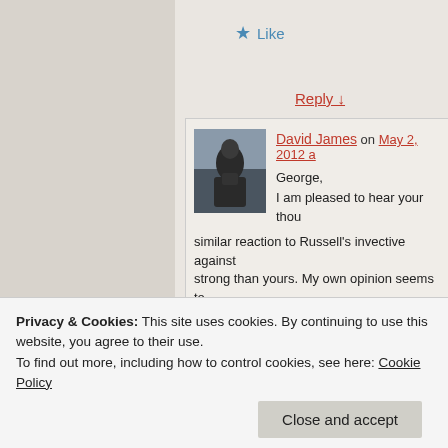★ Like
Reply ↓
David James on May 2, 2012 a
George,

I am pleased to hear your thou similar reaction to Russell's invective against strong than yours. My own opinion seems to see Russell's views as representative of any the truth (though, in this case, I cannot rule o you site). As I wrote in my post, I was especia
Privacy & Cookies: This site uses cookies. By continuing to use this website, you agree to their use.
To find out more, including how to control cookies, see here: Cookie Policy
Close and accept